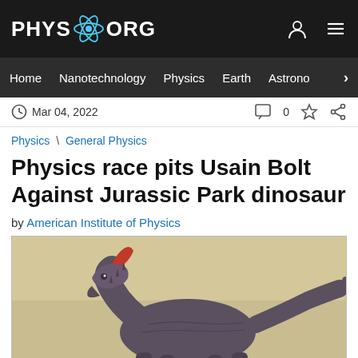PHYS.ORG
Home  Nanotechnology  Physics  Earth  Astronomy >
Mar 04, 2022  0
Physics \ General Physics
Physics race pits Usain Bolt Against Jurassic Park dinosaur
by American Institute of Physics
[Figure (photo): Figurine of a dinosaur (Parasaurolophus-like) with red crest on its head, dark blue-grey body, long neck and tail, against a light beige/cream background.]